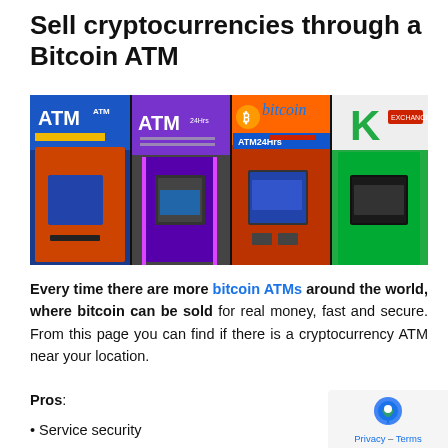Sell cryptocurrencies through a Bitcoin ATM
[Figure (photo): Collage of four Bitcoin and cryptocurrency ATM machines in various colors — orange/blue, purple, red/orange with bitcoin branding, and green — showing their screens and signage]
Every time there are more bitcoin ATMs around the world, where bitcoin can be sold for real money, fast and secure. From this page you can find if there is a cryptocurrency ATM near your location.
Pros:
Service security